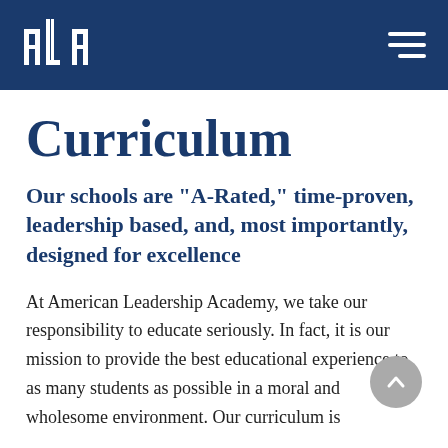[Figure (logo): American Leadership Academy (ALA) logo — white stylized columns/pillars forming letters A-L-A on dark navy background header]
Curriculum
Our schools are "A-Rated," time-proven, leadership based, and, most importantly, designed for excellence
At American Leadership Academy, we take our responsibility to educate seriously. In fact, it is our mission to provide the best educational experience to as many students as possible in a moral and wholesome environment. Our curriculum is